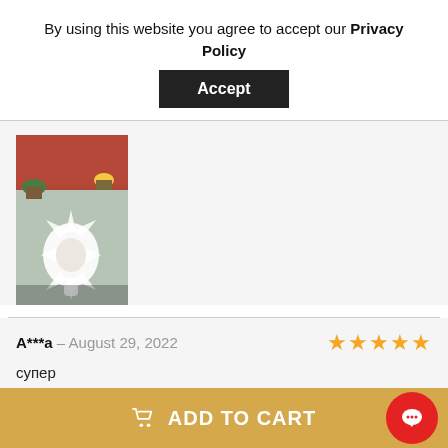By using this website you agree to accept our Privacy Policy
Accept
[Figure (photo): Photo of a decorative lace/crochet tablecloth or doily on a table, with plants visible in the background.]
A***a – August 29, 2022 ★★★★★
супер
ADD TO CART